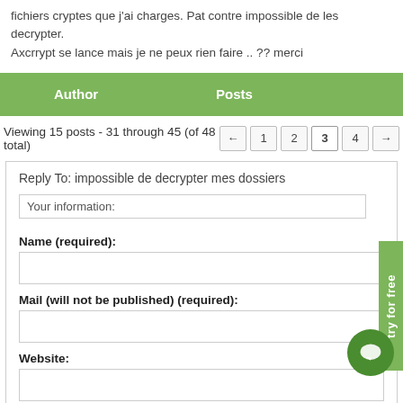fichiers cryptes que j'ai charges. Pat contre impossible de les decrypter. Axcrrypt se lance mais je ne peux rien faire .. ?? merci
| Author | Posts |
| --- | --- |
Viewing 15 posts - 31 through 45 (of 48 total)
Reply To: impossible de decrypter mes dossiers
Your information:
Name (required):
Mail (will not be published) (required):
Website: